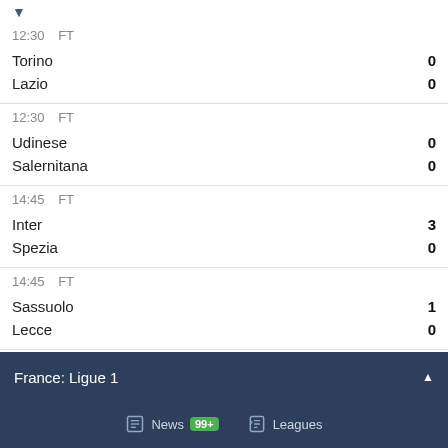12:30 FT
Torino 0
Lazio 0
12:30 FT
Udinese 0
Salernitana 0
14:45 FT
Inter 3
Spezia 0
14:45 FT
Sassuolo 1
Lecce 0
France: Ligue 1
11:00 FT
News 99+ Leagues